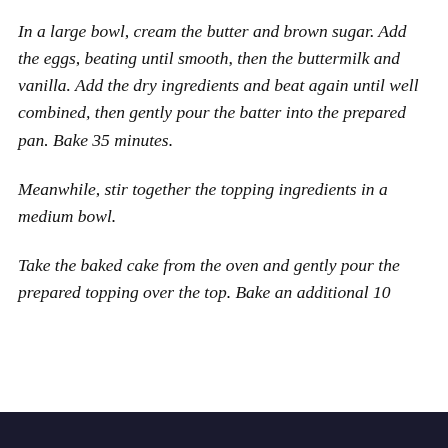In a large bowl, cream the butter and brown sugar. Add the eggs, beating until smooth, then the buttermilk and vanilla. Add the dry ingredients and beat again until well combined, then gently pour the batter into the prepared pan. Bake 35 minutes.
Meanwhile, stir together the topping ingredients in a medium bowl.
Take the baked cake from the oven and gently pour the prepared topping over the top. Bake an additional 10
Privacy & Cookies: This site uses cookies. By continuing to use this website, you agree to their use.
To find out more, including how to control cookies, see here: Cookie Policy